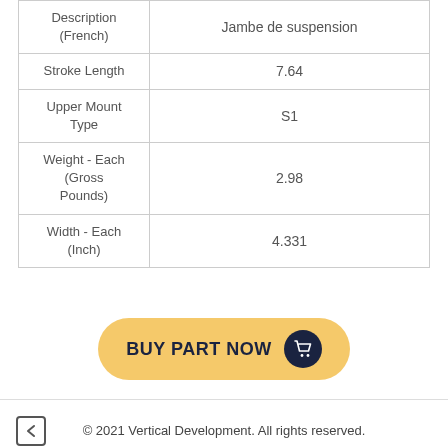| Property | Value |
| --- | --- |
| Description (French) | Jambe de suspension |
| Stroke Length | 7.64 |
| Upper Mount Type | S1 |
| Weight - Each (Gross Pounds) | 2.98 |
| Width - Each (Inch) | 4.331 |
[Figure (other): Yellow 'BUY PART NOW' button with shopping basket icon on dark navy circle]
© 2021 Vertical Development. All rights reserved.